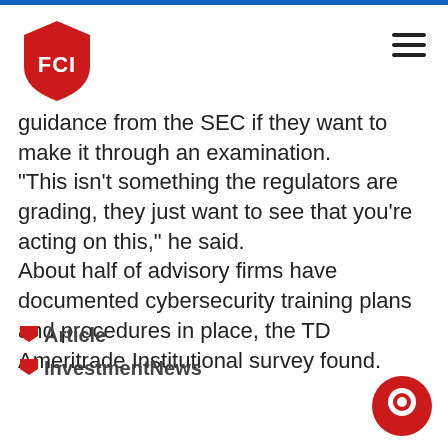FCI
guidance from the SEC if they want to make it through an examination.
“This isn’t something the regulators are grading, they just want to see that you’re acting on this,” he said.
About half of advisory firms have documented cybersecurity training plans and procedures in place, the TD Ameritrade Institutional survey found.
Article
InvestmentNews